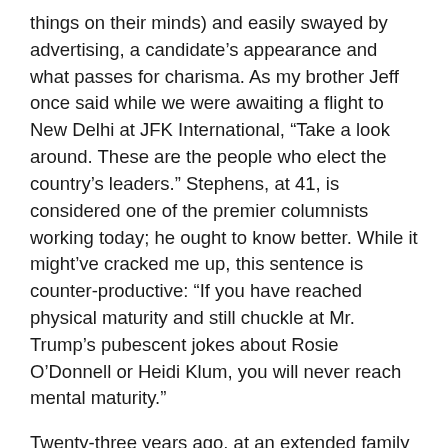things on their minds) and easily swayed by advertising, a candidate's appearance and what passes for charisma. As my brother Jeff once said while we were awaiting a flight to New Delhi at JFK International, “Take a look around. These are the people who elect the country’s leaders.” Stephens, at 41, is considered one of the premier columnists working today; he ought to know better. While it might’ve cracked me up, this sentence is counter-productive: “If you have reached physical maturity and still chuckle at Mr. Trump’s pubescent jokes about Rosie O’Donnell or Heidi Klum, you will never reach mental maturity.”
Twenty-three years ago, at an extended family gathering, I was dismayed upon learning that my Uncles Joe and Pete were taken in by the Ross Perot phenomenon. I asked them why, and they tripped over themselves in a rapid-fire explanation.